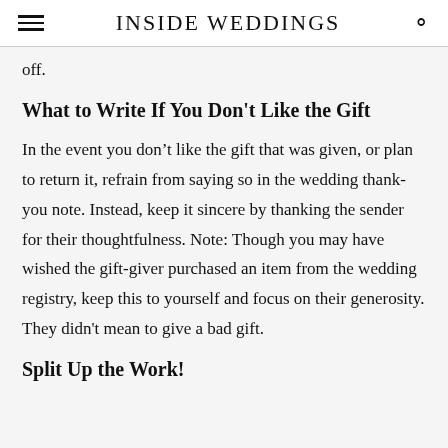INSIDE WEDDINGS
off.
What to Write If You Don't Like the Gift
In the event you don’t like the gift that was given, or plan to return it, refrain from saying so in the wedding thank-you note. Instead, keep it sincere by thanking the sender for their thoughtfulness. Note: Though you may have wished the gift-giver purchased an item from the wedding registry, keep this to yourself and focus on their generosity. They didn't mean to give a bad gift.
Split Up the Work!